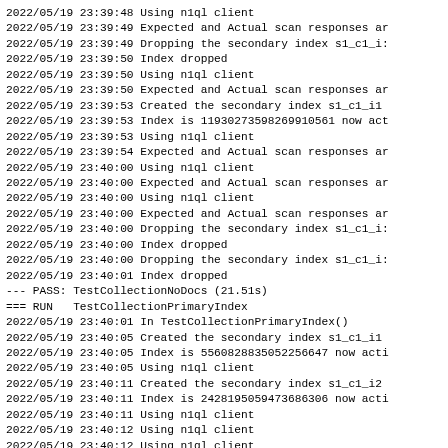2022/05/19 23:39:48 Using n1ql client
2022/05/19 23:39:49 Expected and Actual scan responses ar
2022/05/19 23:39:49 Dropping the secondary index s1_c1_i:
2022/05/19 23:39:50 Index dropped
2022/05/19 23:39:50 Using n1ql client
2022/05/19 23:39:50 Expected and Actual scan responses ar
2022/05/19 23:39:53 Created the secondary index s1_c1_i1
2022/05/19 23:39:53 Index is 11930273598269910561 now act
2022/05/19 23:39:53 Using n1ql client
2022/05/19 23:39:54 Expected and Actual scan responses ar
2022/05/19 23:40:00 Using n1ql client
2022/05/19 23:40:00 Expected and Actual scan responses ar
2022/05/19 23:40:00 Using n1ql client
2022/05/19 23:40:00 Expected and Actual scan responses ar
2022/05/19 23:40:00 Dropping the secondary index s1_c1_i:
2022/05/19 23:40:00 Index dropped
2022/05/19 23:40:00 Dropping the secondary index s1_c1_i:
2022/05/19 23:40:01 Index dropped
--- PASS: TestCollectionNoDocs (21.51s)
=== RUN   TestCollectionPrimaryIndex
2022/05/19 23:40:01 In TestCollectionPrimaryIndex()
2022/05/19 23:40:05 Created the secondary index s1_c1_i1
2022/05/19 23:40:05 Index is 5560828835052256647 now acti
2022/05/19 23:40:05 Using n1ql client
2022/05/19 23:40:11 Created the secondary index s1_c1_i2
2022/05/19 23:40:11 Index is 2428195059473686306 now acti
2022/05/19 23:40:11 Using n1ql client
2022/05/19 23:40:12 Using n1ql client
2022/05/19 23:40:12 Using n1ql client
2022/05/19 23:40:12 Dropping the secondary index s1_c1_i: